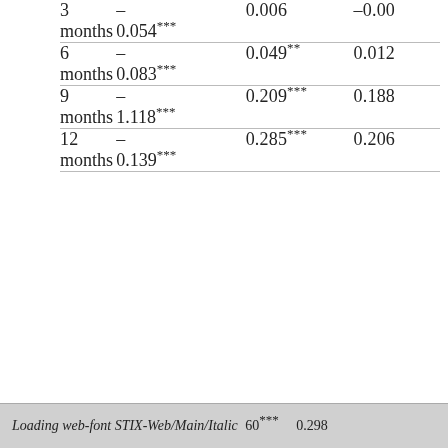| 3 | – | 0.006 | –0.00 |
| months | 0.054*** |  |  |
| 6 | – | 0.049** | 0.012 |
| months | 0.083*** |  |  |
| 9 | – | 0.209*** | 0.188 |
| months | 1.118*** |  |  |
| 12 | – | 0.285*** | 0.206 |
| months | 0.139*** |  |  |
Loading web-font STIX-Web/Main/Italic  ...60***   0.298